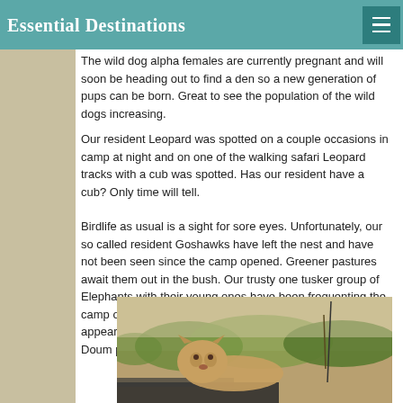Essential Destinations
The wild dog alpha females are currently pregnant and will soon be heading out to find a den so a new generation of pups can be born. Great to see the population of the wild dogs increasing.
Our resident Leopard was spotted on a couple occasions in camp at night and on one of the walking safari Leopard tracks with a cub was spotted. Has our resident have a cub? Only time will tell.
Birdlife as usual is a sight for sore eyes. Unfortunately, our so called resident Goshawks have left the nest and have not been seen since the camp opened. Greener pastures await them out in the bush. Our trusty one tusker group of Elephants with their young ones have been frequenting the camp on a regular basis. The collared big bull makes his appearance on a regular basis chomping away on the Doum palm fruits in camp.
[Figure (photo): A lion or lioness resting on or near a safari vehicle, with dry savanna landscape and green vegetation in the background.]